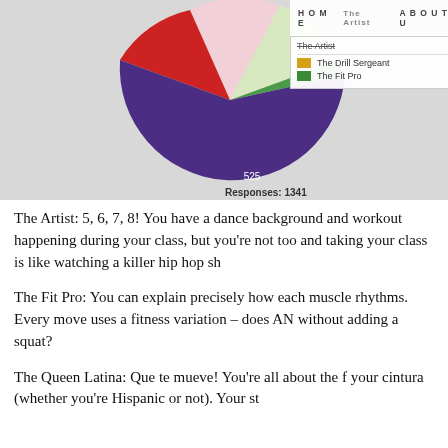[Figure (pie-chart): Pie chart showing survey responses (total 1341) with colored slices. Legend shows: The Artist (top, struck through), The Drill Sergeant (orange/yellow), The Fit Pro (green). Slices labeled with values: 525 (purple, large bottom), 342 (red, left), and other slices in light pink, light yellow-green. Responses: 1341 shown below chart.]
The Artist: 5, 6, 7, 8! You have a dance background and workout happening during your class, but you're not too and taking your class is like watching a killer hip hop sh
The Fit Pro: You can explain precisely how each muscle rhythms. Every move uses a fitness variation – does AN without adding a squat?
The Queen Latina: Que te mueve! You're all about the f your cintura (whether you're Hispanic or not). Your st